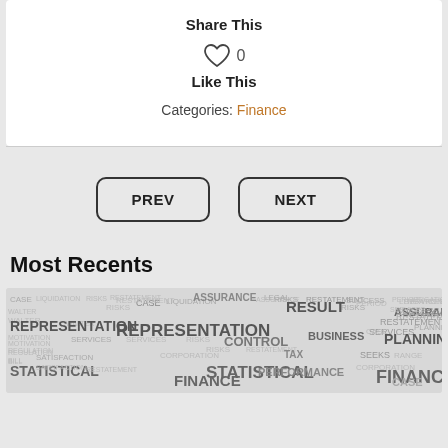Share This
♡ 0
Like This
Categories: Finance
PREV
NEXT
Most Recents
[Figure (illustration): Word cloud featuring finance and legal terms such as RESULT, REPRESENTATION, ASSURANCE, CONTROL, FINANCE, STATISTICAL, PLANNING, BUSINESS, PERFORMANCE, LEGAL, SUCCESS, TAX, CASE, RISKS, SERVICES, etc.]